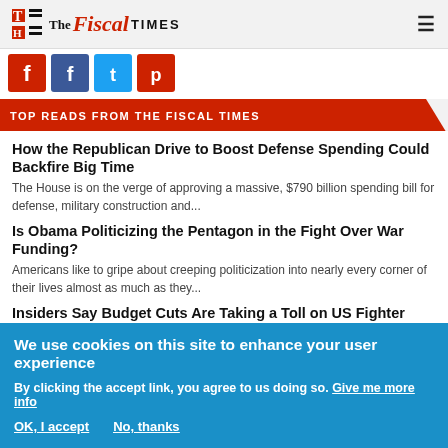The Fiscal Times
[Figure (screenshot): Social media sharing icons (Facebook, Twitter, and another platform) in colored squares]
TOP READS FROM THE FISCAL TIMES
How the Republican Drive to Boost Defense Spending Could Backfire Big Time
The House is on the verge of approving a massive, $790 billion spending bill for defense, military construction and...
Is Obama Politicizing the Pentagon in the Fight Over War Funding?
Americans like to gripe about creeping politicization into nearly every corner of their lives almost as much as they...
Insiders Say Budget Cuts Are Taking a Toll on US Fighter Pilots and Planes
Last June, Marine Capt. Jeff Kuss was killed during a Blue Angels practice flight at
We use cookies on this site to enhance your user experience
By clicking the accept link, you agree to us doing so. Give me more info
OK, I accept    No, thanks